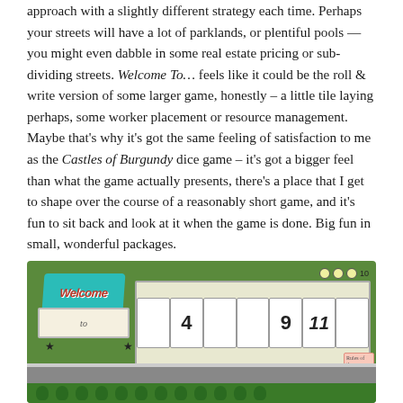approach with a slightly different strategy each time. Perhaps your streets will have a lot of parklands, or plentiful pools — you might even dabble in some real estate pricing or sub-dividing streets. Welcome To… feels like it could be the roll & write version of some larger game, honestly – a little tile laying perhaps, some worker placement or resource management. Maybe that's why it's got the same feeling of satisfaction to me as the Castles of Burgundy dice game – it's got a bigger feel than what the game actually presents, there's a place that I get to shape over the course of a reasonably short game, and it's fun to sit back and look at it when the game is done. Big fun in small, wonderful packages.
[Figure (photo): Photo of the Welcome To... board game showing a top-down view of a neighborhood game board with houses numbered 4, 9, 11, trees, roads, and the Welcome To... sign in teal.]